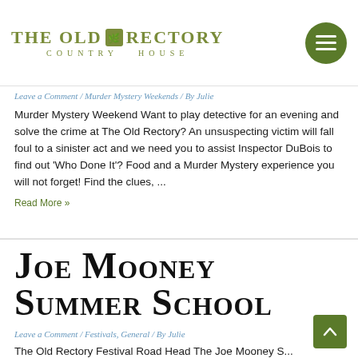[Figure (logo): The Old Rectory Country House logo with green text and decorative icon]
Leave a Comment / Murder Mystery Weekends / By Julie
Murder Mystery Weekend Want to play detective for an evening and solve the crime at The Old Rectory? An unsuspecting victim will fall foul to a sinister act and we need you to assist Inspector DuBois to find out ‘Who Done It’?  Food and a Murder Mystery experience you will not forget!  Find the clues, ...
Read More »
JOE MOONEY SUMMER SCHOOL
Leave a Comment / Festivals, General / By Julie
The Old Rectory Festival Road Head The Joe Mooney S...